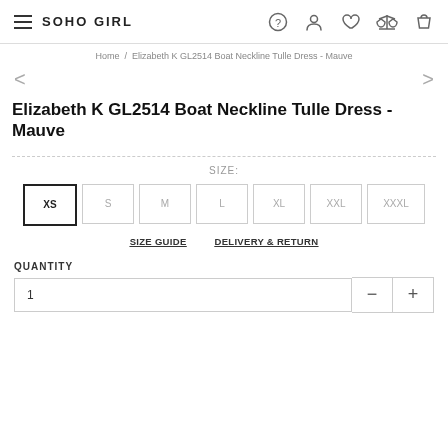SOHO GIRL
Home / Elizabeth K GL2514 Boat Neckline Tulle Dress - Mauve
Elizabeth K GL2514 Boat Neckline Tulle Dress - Mauve
SIZE:
XS  S  M  L  XL  XXL  XXXL
SIZE GUIDE    DELIVERY & RETURN
QUANTITY
1